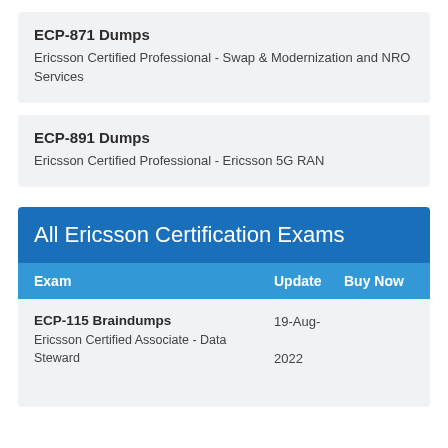ECP-871 Dumps
Ericsson Certified Professional - Swap & Modernization and NRO Services
ECP-891 Dumps
Ericsson Certified Professional - Ericsson 5G RAN
All Ericsson Certification Exams
| Exam | Update | Buy Now |
| --- | --- | --- |
| ECP-115 Braindumps
Ericsson Certified Associate - Data Steward | 19-Aug-
2022 |  |